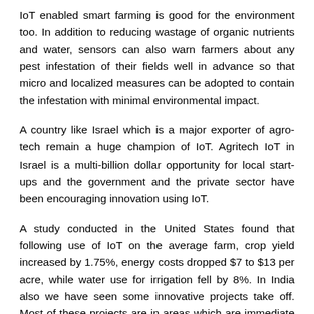IoT enabled smart farming is good for the environment too. In addition to reducing wastage of organic nutrients and water, sensors can also warn farmers about any pest infestation of their fields well in advance so that micro and localized measures can be adopted to contain the infestation with minimal environmental impact.
A country like Israel which is a major exporter of agro-tech remain a huge champion of IoT. Agritech IoT in Israel is a multi-billion dollar opportunity for local start-ups and the government and the private sector have been encouraging innovation using IoT.
A study conducted in the United States found that following use of IoT on the average farm, crop yield increased by 1.75%, energy costs dropped $7 to $13 per acre, while water use for irrigation fell by 8%. In India also we have seen some innovative projects take off. Most of these projects are in areas which are immediate pain points for Indian farmers. Like there is one IoT project directed towards managing pumpsets to prevent